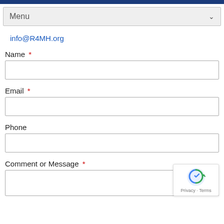Menu
info@R4MH.org
Name *
Email *
Phone
Comment or Message *